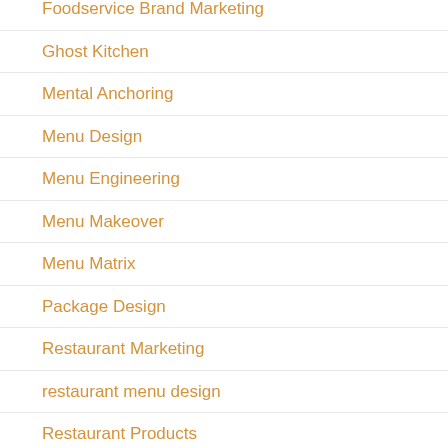Foodservice Brand Marketing
Ghost Kitchen
Mental Anchoring
Menu Design
Menu Engineering
Menu Makeover
Menu Matrix
Package Design
Restaurant Marketing
restaurant menu design
Restaurant Products